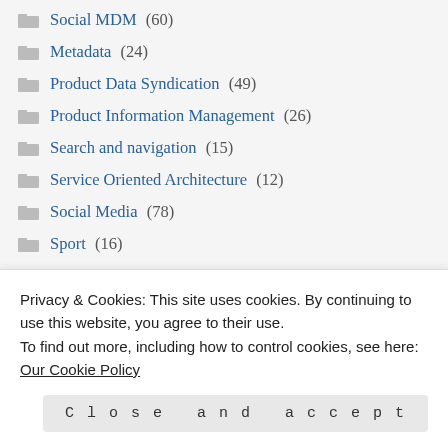Social MDM (60)
Metadata (24)
Product Data Syndication (49)
Product Information Management (26)
Search and navigation (15)
Service Oriented Architecture (12)
Social Media (78)
Sport (16)
Supposed to be a joke (66)
Privacy & Cookies: This site uses cookies. By continuing to use this website, you agree to their use. To find out more, including how to control cookies, see here: Our Cookie Policy
Close and accept